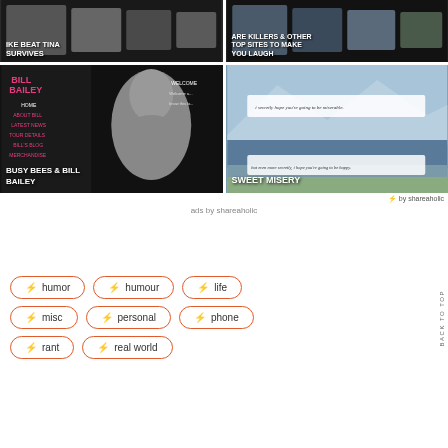[Figure (photo): Top-left image card with text 'IKE BEAT TINA SURVIVES' overlaid on dark photo collage]
[Figure (photo): Top-right image card with text 'ARE KILLERS & OTHER TOP SITES TO MAKE YOU LAUGH' overlaid on dark photo collage]
[Figure (photo): Middle-left Bill Bailey website screenshot with nav menu and bust sculpture; text 'BUSY BEES & BILL BAILEY']
[Figure (photo): Middle-right Sweet Misery postcard image with handwritten text; overlay reads 'SWEET MISERY']
⚡ by shareaholic
ads by shareaholic
⚡ humor
⚡ humour
⚡ life
⚡ misc
⚡ personal
⚡ phone
⚡ rant
⚡ real world
BACK TO TOP